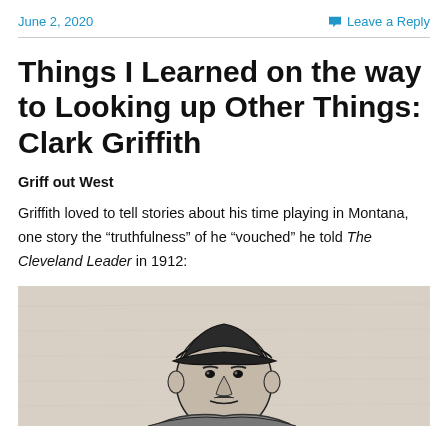June 2, 2020
Leave a Reply
Things I Learned on the way to Looking up Other Things: Clark Griffith
Griff out West
Griffith loved to tell stories about his time playing in Montana, one story the “truthfulness” of he “vouched” he told The Cleveland Leader in 1912:
[Figure (illustration): Black and white sketch/illustration of a man wearing a baseball cap, shown from shoulders up, facing slightly to the side.]